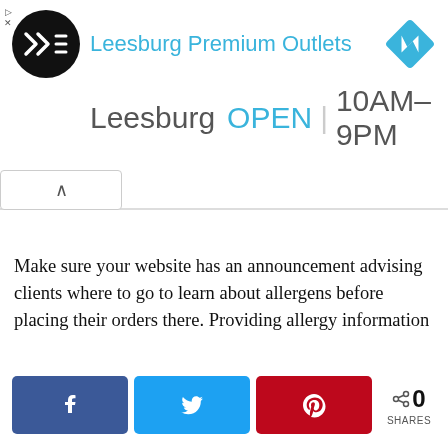[Figure (screenshot): Leesburg Premium Outlets advertisement banner with logo, navigation icon, location name 'Leesburg', status 'OPEN', and hours '10AM–9PM']
Make sure your website has an announcement advising clients where to go to learn about allergens before placing their orders there. Providing allergy information
[Figure (infographic): Social share bar with Facebook, Twitter, and Pinterest buttons, and a share count showing 0 SHARES]